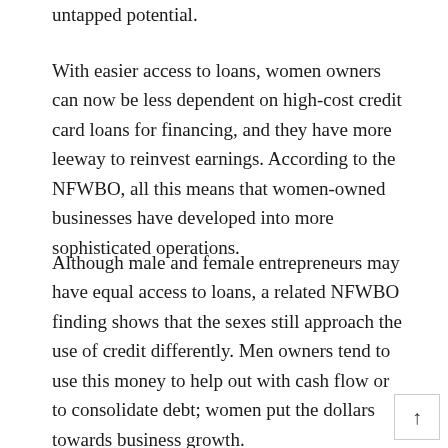untapped potential.
With easier access to loans, women owners can now be less dependent on high-cost credit card loans for financing, and they have more leeway to reinvest earnings. According to the NFWBO, all this means that women-owned businesses have developed into more sophisticated operations.
Although male and female entrepreneurs may have equal access to loans, a related NFWBO finding shows that the sexes still approach the use of credit differently. Men owners tend to use this money to help out with cash flow or to consolidate debt; women put the dollars towards business growth.